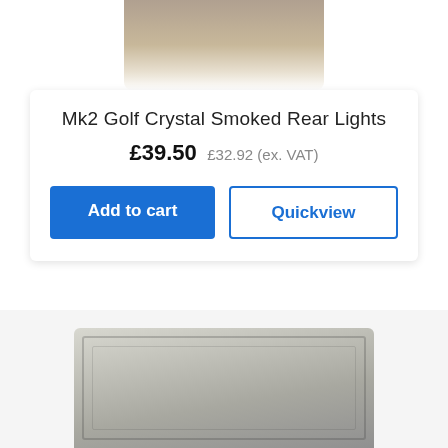[Figure (photo): Top portion of a product photo showing Mk2 Golf Crystal Smoked Rear Lights, cropped at the top edge of the page]
Mk2 Golf Crystal Smoked Rear Lights
£39.50 £32.92 (ex. VAT)
Add to cart
Quickview
[Figure (photo): Bottom portion of a product photo showing a smoked rear light unit for a Mk2 Golf, silver/chrome coloured housing, cropped at bottom edge of page]